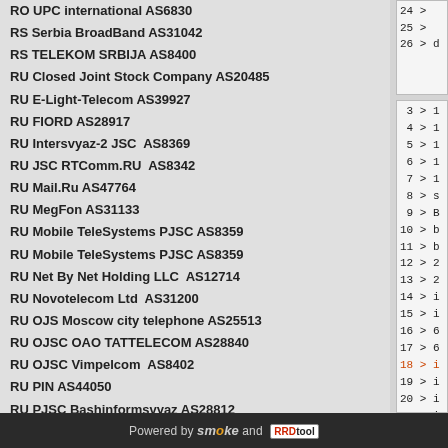RO UPC international AS6830
RS Serbia BroadBand AS31042
RS TELEKOM SRBIJA AS8400
RU Closed Joint Stock Company AS20485
RU E-Light-Telecom AS39927
RU FIORD AS28917
RU Intersvyaz-2 JSC  AS8369
RU JSC RTComm.RU  AS8342
RU Mail.Ru AS47764
RU MegFon AS31133
RU Mobile TeleSystems PJSC AS8359
RU Mobile TeleSystems PJSC AS8359
RU Net By Net Holding LLC  AS12714
RU Novotelecom Ltd  AS31200
RU OJS Moscow city telephone AS25513
RU OJSC OAO TATTELECOM AS28840
RU OJSC Vimpelcom  AS8402
RU PIN AS44050
RU PJSC Bashinformsvyaz AS28812
RU PJSC Vimpelcom AS3216
RU PeterStar AS20632
RU Prometey AS35000
RU Ros Sprint - OBS AS2854
RU Rostelecom AS12389
RU Rostelecom NW AS8997
RU i3D Russia, Moscow AS49544
24 >
25 >
26 > d
3 > 1
4 > 1
5 > 1
6 > 1
7 > 1
8 > s
9 > B
10 > b
11 > b
12 > 2
13 > 2
14 > i
15 > i
16 > 6
17 > 6
18 > i
19 > i
20 > i
21 > i
22 > i
23 >
Powered by smoke and RRDtool